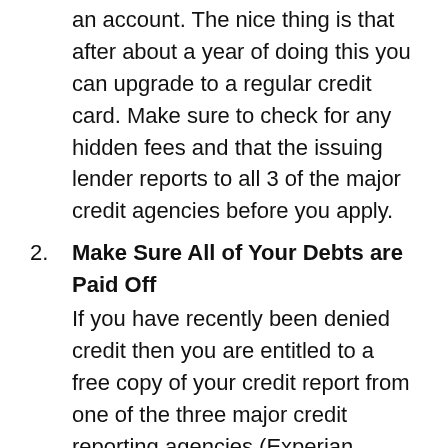an account. The nice thing is that after about a year of doing this you can upgrade to a regular credit card. Make sure to check for any hidden fees and that the issuing lender reports to all 3 of the major credit agencies before you apply.
2. Make Sure All of Your Debts are Paid Off
If you have recently been denied credit then you are entitled to a free copy of your credit report from one of the three major credit reporting agencies (Experian, Equifax, and TransUnion). These agencies also offer a one-time deal, so if you can, take advantage of that as well. Make sure to pay off any outstanding debts and to challenge anything on there that you did not legitimately incur. It is also possible to write the lenders asking